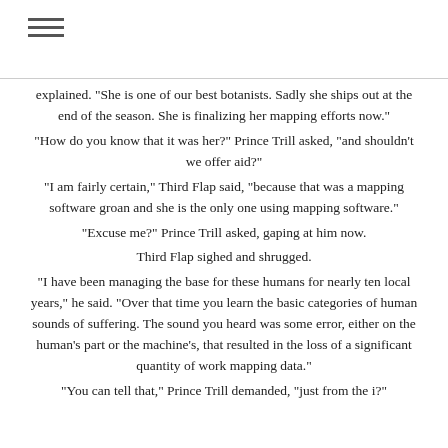≡
explained. "She is one of our best botanists. Sadly she ships out at the end of the season. She is finalizing her mapping efforts now."
"How do you know that it was her?" Prince Trill asked, "and shouldn't we offer aid?"
"I am fairly certain," Third Flap said, "because that was a mapping software groan and she is the only one using mapping software."
"Excuse me?" Prince Trill asked, gaping at him now.
Third Flap sighed and shrugged.
"I have been managing the base for these humans for nearly ten local years," he said. "Over that time you learn the basic categories of human sounds of suffering. The sound you heard was some error, either on the human's part or the machine's, that resulted in the loss of a significant quantity of work mapping data."
"You can tell that," Prince Trill demanded, "just from the i?"